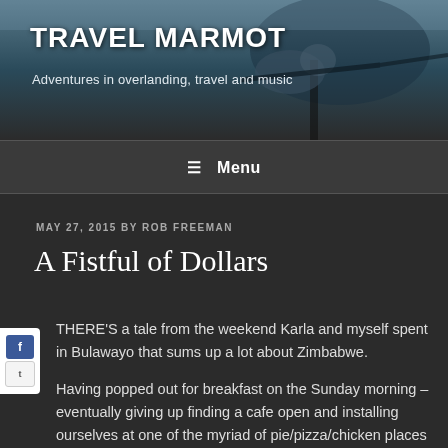[Figure (photo): Header banner photo of a lion in a tree at night, dark blue/teal tones, used as background for the Travel Marmot blog header]
TRAVEL MARMOT
Adventures in overlanding, travel and music
≡ Menu
MAY 27, 2015 BY ROB FREEMAN
A Fistful of Dollars
THERE'S a tale from the weekend Karla and myself spent in Bulawayo that sums up a lot about Zimbabwe.
Having popped out for breakfast on the Sunday morning – eventually giving up finding a cafe open and installing ourselves at one of the myriad of pie/pizza/chicken places which dot the city – we went into a shop for Karla to buy something.